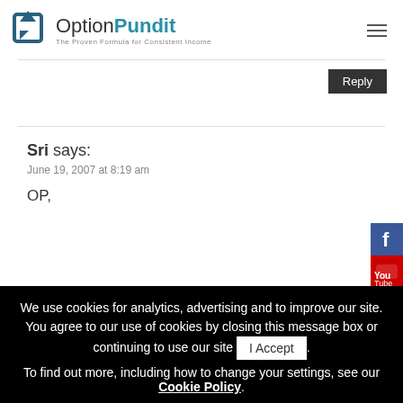OptionPundit – The Proven Formula for Consistent Income
Reply
Sri says:
June 19, 2007 at 8:19 am

OP,
We use cookies for analytics, advertising and to improve our site. You agree to our use of cookies by closing this message box or continuing to use our site. To find out more, including how to change your settings, see our Cookie Policy.